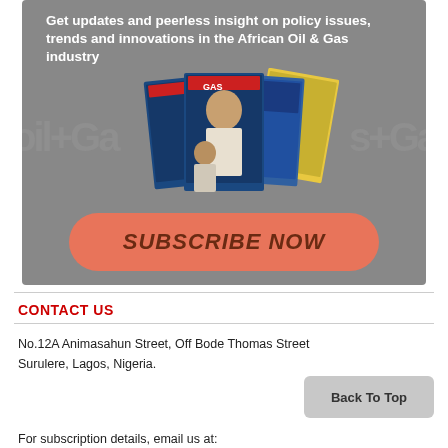[Figure (illustration): Advertisement banner for African Oil & Gas magazine subscription. Shows text 'Get updates and peerless insight on policy issues, trends and innovations in the African Oil & Gas industry' over a grey background with magazine covers featuring portraits, and a salmon-colored 'SUBSCRIBE NOW' button.]
CONTACT US
No.12A Animasahun Street, Off Bode Thomas Street
Surulere, Lagos, Nigeria.
For subscription details, email us at: